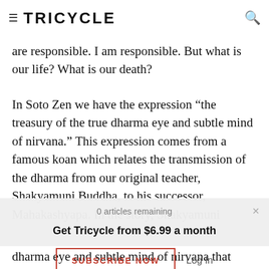TRICYCLE | SUBSCRIBE
are responsible. I am responsible. But what is our life? What is our death?
In Soto Zen we have the expression “the treasury of the true dharma eye and subtle mind of nirvana.” This expression comes from a famous koan which relates the transmission of the dharma from our original teacher, Shakyamuni Buddha, to his successor, Mahakashyapa. In the story, Shakyamuni
0 articles remaining
Get Tricycle from $6.99 a month
SUBSCRIBE NOW
Log In
dharma eye and subtle mind of nirvana that